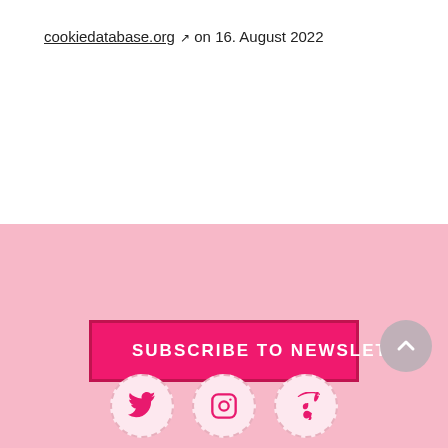cookiedatabase.org ↗ on 16. August 2022
[Figure (infographic): Subscribe to newsletter button with pink background, back-to-top button, social media icons (Twitter, Instagram, Amazon), and footer links]
Data protection   imprint   Cookies (EU)